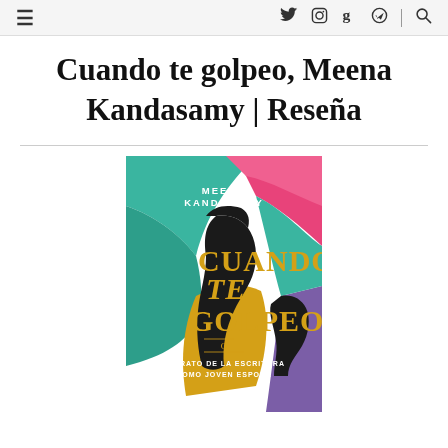≡  𝕏  📷  g  ✈  🔍
Cuando te golpeo, Meena Kandasamy | Reseña
[Figure (illustration): Book cover of 'Cuando te golpeo' by Meena Kandasamy. Colorful abstract silhouettes of faces in teal, pink, orange, gold, purple against a white background. Large golden title text 'CUANDO TE GOLPEO' with subtitle 'O RETRATO DE LA ESCRITORA COMO JOVEN ESPOSA'.]